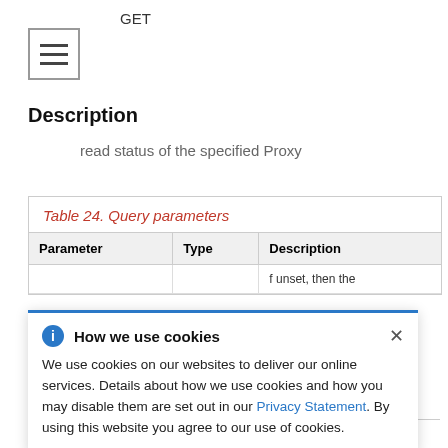GET
Description
read status of the specified Proxy
Table 24. Query parameters
| Parameter | Type | Description |
| --- | --- | --- |
How we use cookies
We use cookies on our websites to deliver our online services. Details about how we use cookies and how you may disable them are set out in our Privacy Statement. By using this website you agree to our use of cookies.